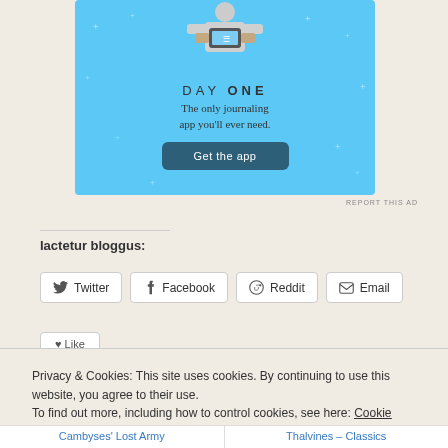[Figure (illustration): Day One journaling app advertisement banner with light blue background, person holding phone illustration at top, 'DAY ONE' title text, subtitle 'The only journaling app you'll ever need.', and a dark teal 'Get the app' button.]
REPORT THIS AD
Iactetur bloggus:
Twitter  Facebook  Reddit  Email
Privacy & Cookies: This site uses cookies. By continuing to use this website, you agree to their use.
To find out more, including how to control cookies, see here: Cookie Policy
Close and accept
Cambyses' Lost Army   Thalvines – Classics